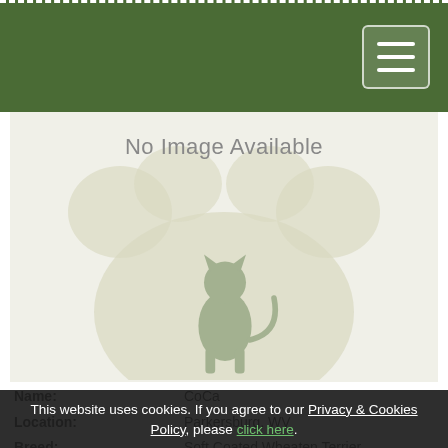Navigation header with green background and hamburger menu button
[Figure (illustration): No Image Available placeholder with paw print silhouette and cat silhouette in muted green/tan tones]
| Name: | CoCa |
| Location: | Parkersburg, WV |
| Breed: | Soft Coated Wheaten Terrier |
| Age: | 1 years, 7 months, 21 days |
| Gender: | Bitch (Female) |
| Pedigree: | No |
CoCa is a beautiful Soft Coat Wheaten Terrier. She has been an incredible blessing to our family. She's incredibly well behaved, gentle
This website uses cookies. If you agree to our Privacy & Cookies Policy, please click here.